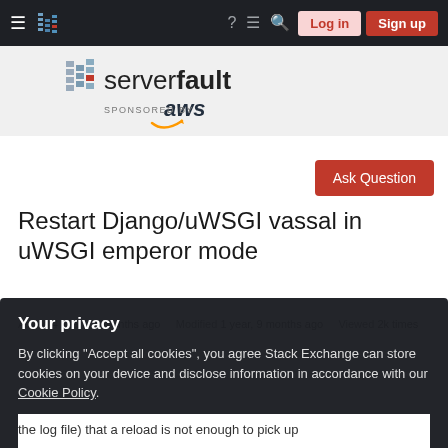Server Fault navigation bar with hamburger menu, logo, help, chat, search icons, Log in and Sign up buttons
[Figure (logo): Server Fault logo with bar-chart icon and 'serverfault' text, sponsored by aws]
Ask Question
Restart Django/uWSGI vassal in uWSGI emperor mode
Asked 4 years, 4 months ago   Modified 1 year, 9 months ago   Viewed 2k times
Your privacy
By clicking "Accept all cookies", you agree Stack Exchange can store cookies on your device and disclose information in accordance with our Cookie Policy.
Accept all cookies   Customize settings
the log file) that a reload is not enough to pick up